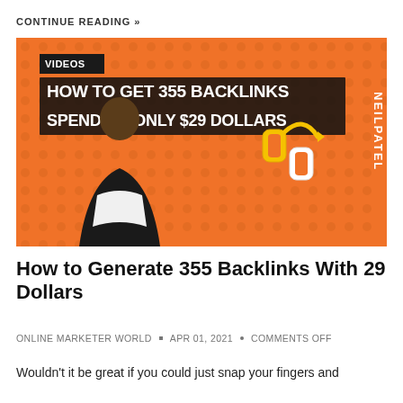CONTINUE READING »
[Figure (screenshot): Video thumbnail with orange background showing a person pointing upward, a chain link icon, text 'HOW TO GET 355 BACKLINKS SPENDING ONLY $29 DOLLARS', 'VIDEOS' label, and 'NEILPATEL' branding on the right side.]
How to Generate 355 Backlinks With 29 Dollars
ONLINE MARKETER WORLD • APR 01, 2021 • COMMENTS OFF
Wouldn't it be great if you could just snap your fingers and